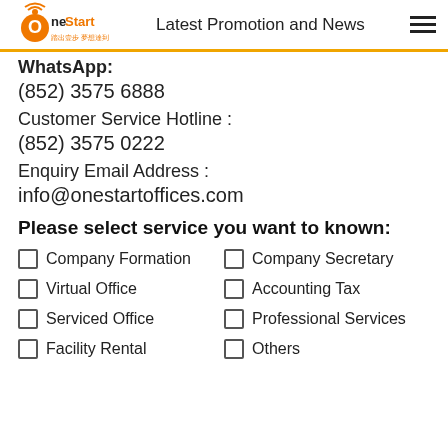One Start — Latest Promotion and News
WhatsApp:
(852) 3575 6888
Customer Service Hotline :
(852) 3575 0222
Enquiry Email Address :
info@onestartoffices.com
Please select service you want to known:
Company Formation
Company Secretary
Virtual Office
Accounting Tax
Serviced Office
Professional Services
Facility Rental
Others